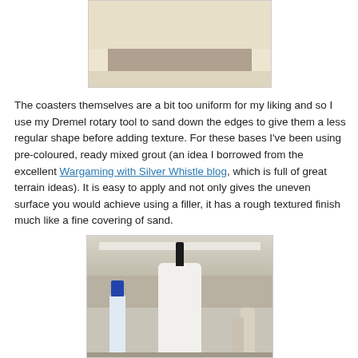[Figure (photo): Top portion of a photo showing a cork/stone coaster with rounded disc shape on a beige/tan surface]
The coasters themselves are a bit too uniform for my liking and so I use my Dremel rotary tool to sand down the edges to give them a less regular shape before adding texture. For these bases I've been using pre-coloured, ready mixed grout (an idea I borrowed from the excellent Wargaming with Silver Whistle blog, which is full of great terrain ideas). It is easy to apply and not only gives the uneven surface you would achieve using a filler, it has a rough textured finish much like a fine covering of sand.
[Figure (photo): Photo of a hobby/crafting workspace with bottles of glue and other supplies on a desk, with shelving and paint bottles visible in the background]